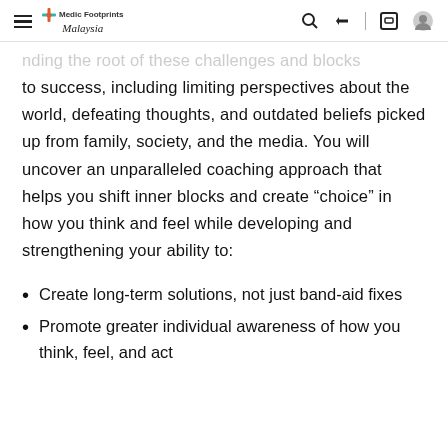Medic Footprints Malaysia
...nding the root of these challenges and blocks to success, including limiting perspectives about the world, defeating thoughts, and outdated beliefs picked up from family, society, and the media. You will uncover an unparalleled coaching approach that helps you shift inner blocks and create “choice” in how you think and feel while developing and strengthening your ability to:
Create long-term solutions, not just band-aid fixes
Promote greater individual awareness of how you think, feel, and act